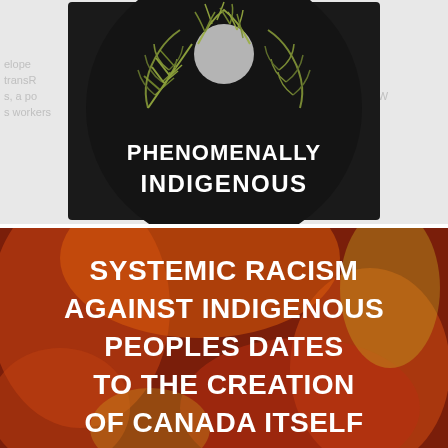[Figure (photo): A circular vinyl record or badge design with a dark/black background, featuring botanical illustrations of cedar or fern-like branches in olive green. Bold white text reads 'PHENOMENALLY INDIGENOUS'. Partial text visible in the background of the surrounding page.]
[Figure (photo): A graphic image with a dark red/orange abstract background with stylized shapes. Bold white text reads 'SYSTEMIC RACISM AGAINST INDIGENOUS PEOPLES DATES TO THE CREATION OF CANADA ITSELF'.]